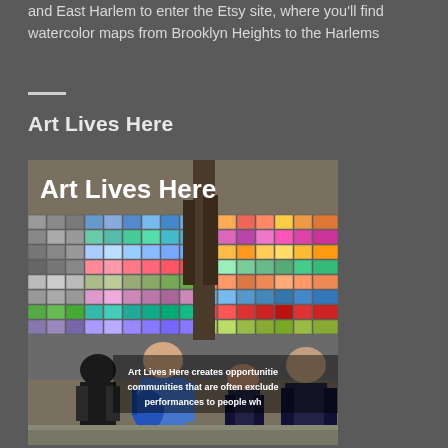and East Harlem to enter the Etsy site, where you'll find watercolor maps from Brooklyn Heights to the Harlems
Art Lives Here
[Figure (photo): People standing in front of a colorful grid wall installation with text 'Art Lives Here' overlaid, and a partial text overlay reading 'Art Lives Here creates opportunitie communities that are often exclude performances to people wh']